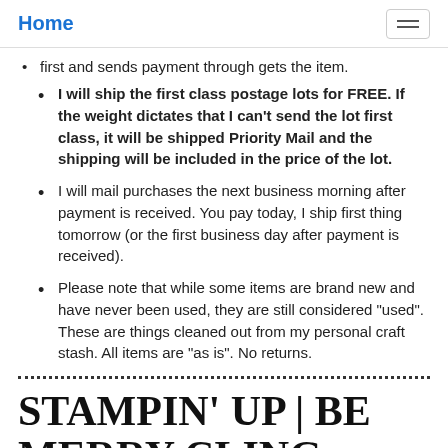Home
first and sends payment through gets the item.
I will ship the first class postage lots for FREE. If the weight dictates that I can't send the lot first class, it will be shipped Priority Mail and the shipping will be included in the price of the lot.
I will mail purchases the next business morning after payment is received. You pay today, I ship first thing tomorrow (or the first business day after payment is received).
Please note that while some items are brand new and have never been used, they are still considered "used". These are things cleaned out from my personal craft stash. All items are "as is". No returns.
STAMPIN' UP | BE MERRY CLING STAMP, CHALK TALK STAMP